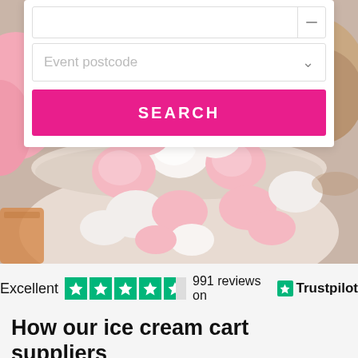[Figure (screenshot): Website screenshot showing a search form with 'Event postcode' dropdown and a pink SEARCH button, overlaid on a photo of pink and white marshmallows in a bowl]
Event postcode
SEARCH
Excellent   ★★★★★   991 reviews on   ★ Trustpilot
How our ice cream cart suppliers